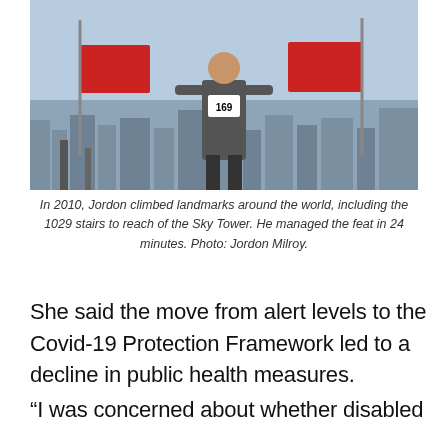[Figure (photo): A person standing at height atop a tall structure, holding red flags/banners, with a city skyline visible far below. The person is wearing a race bib numbered 169.]
In 2010, Jordon climbed landmarks around the world, including the 1029 stairs to reach of the Sky Tower. He managed the feat in 24 minutes. Photo: Jordon Milroy.
She said the move from alert levels to the Covid-19 Protection Framework led to a decline in public health measures.
“I was concerned about whether disabled people’s rights were being upheld,” said Tesoriero.